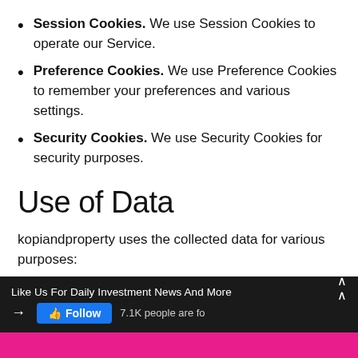Session Cookies. We use Session Cookies to operate our Service.
Preference Cookies. We use Preference Cookies to remember your preferences and various settings.
Security Cookies. We use Security Cookies for security purposes.
Use of Data
kopiandproperty uses the collected data for various purposes:
To provide and maintain the Service
To notify you about changes to our Service
Like Us For Daily Investment News And More | Follow | 7.1K people are fo